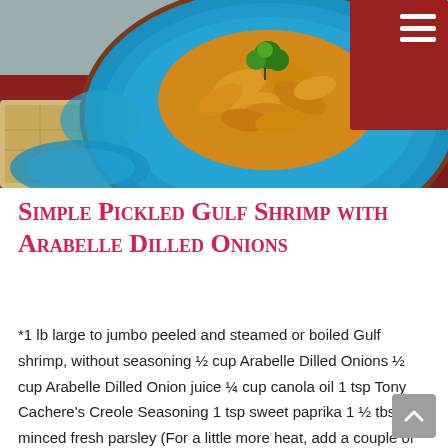[Figure (photo): Overhead/angled photo of cooked shrimp on a blue ceramic plate with parsley garnish, on a red wooden surface with crackers visible in the foreground.]
Simple Pickled Gulf Shrimp with Arabelle Dilled Onions
*1 lb large to jumbo peeled and steamed or boiled Gulf shrimp, without seasoning ½ cup Arabelle Dilled Onions ½ cup Arabelle Dilled Onion juice ¼ cup canola oil 1 tsp Tony Cachere's Creole Seasoning 1 tsp sweet paprika 1 ½ tbsp minced fresh parsley (For a little more heat, add a couple of drops...